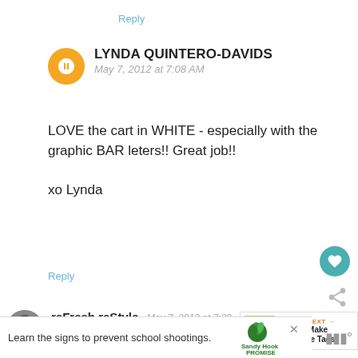Reply
LYNDA QUINTERO-DAVIDS
May 7, 2012 at 7:08 AM
LOVE the cart in WHITE - especially with the graphic BAR leters!! Great job!!

xo Lynda
Reply
reFresh reStyle  May 7, 2012 at 7:28 AM
It looks great! I have mine in shop~I may have to bring it home.. Thanks for the BAR idea, I'm going to
[Figure (infographic): What's Next panel showing beverage tags thumbnail]
Learn the signs to prevent school shootings.
[Figure (logo): Sandy Hook Promise logo with tree graphic]